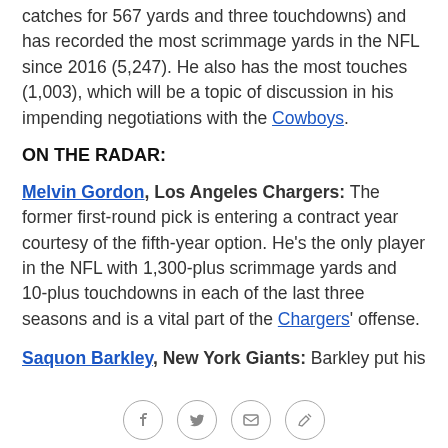catches for 567 yards and three touchdowns) and has recorded the most scrimmage yards in the NFL since 2016 (5,247). He also has the most touches (1,003), which will be a topic of discussion in his impending negotiations with the Cowboys.
ON THE RADAR:
Melvin Gordon, Los Angeles Chargers: The former first-round pick is entering a contract year courtesy of the fifth-year option. He's the only player in the NFL with 1,300-plus scrimmage yards and 10-plus touchdowns in each of the last three seasons and is a vital part of the Chargers' offense.
Saquon Barkley, New York Giants: Barkley put his